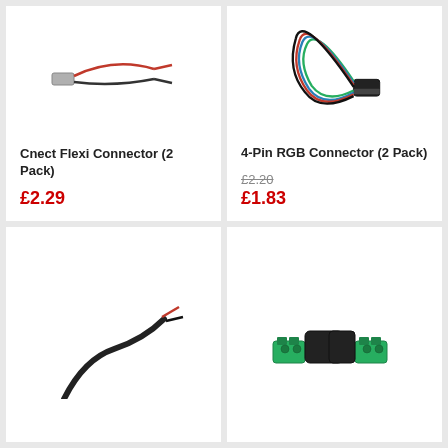[Figure (photo): Cnect Flexi Connector cable with small clip connector on one end and bare wires on other end]
Cnect Flexi Connector (2 Pack)
£2.29
[Figure (photo): 4-Pin RGB Connector with multi-color wires (red, green, blue, black) and a 4-pin female connector]
4-Pin RGB Connector (2 Pack)
£2.20 £1.83
[Figure (photo): Cable with bare red and black wires and a curved black connector]
[Figure (photo): Two DC power connectors with green screw terminal blocks]